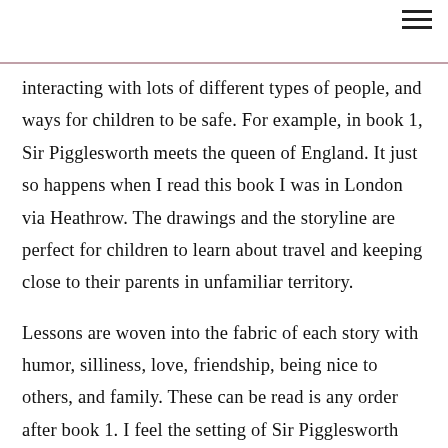≡
interacting with lots of different types of people, and ways for children to be safe. For example, in book 1, Sir Pigglesworth meets the queen of England. It just so happens when I read this book I was in London via Heathrow. The drawings and the storyline are perfect for children to learn about travel and keeping close to their parents in unfamiliar territory.
Lessons are woven into the fabric of each story with humor, silliness, love, friendship, being nice to others, and family. These can be read is any order after book 1. I feel the setting of Sir Pigglesworth and his relationship with JoAnn and